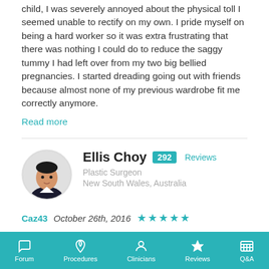child, I was severely annoyed about the physical toll I seemed unable to rectify on my own. I pride myself on being a hard worker so it was extra frustrating that there was nothing I could do to reduce the saggy tummy I had left over from my two big bellied pregnancies. I started dreading going out with friends because almost none of my previous wardrobe fit me correctly anymore.
Read more
Ellis Choy  292 Reviews
Plastic Surgeon
New South Wales, Australia
Caz43  October 26th, 2016  ★★★★★
Breast Lift - Mastopexy, Breast Reduction, Tummy Tuck, Mummy Makeover
Forum  Procedures  Clinicians  Reviews  Q&A